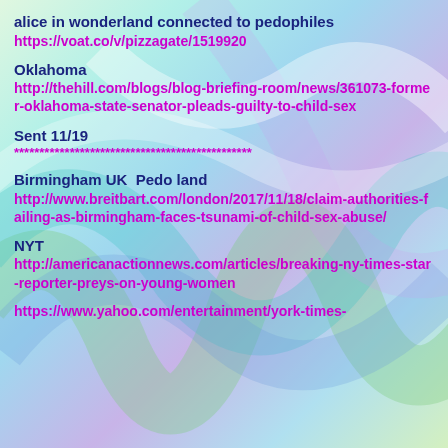alice in wonderland connected to pedophiles
https://voat.co/v/pizzagate/1519920
Oklahoma
http://thehill.com/blogs/blog-briefing-room/news/361073-former-oklahoma-state-senator-pleads-guilty-to-child-sex
Sent 11/19
***********************************************
Birmingham UK  Pedo land
http://www.breitbart.com/london/2017/11/18/claim-authorities-failing-as-birmingham-faces-tsunami-of-child-sex-abuse/
NYT
http://americanactionnews.com/articles/breaking-ny-times-star-reporter-preys-on-young-women
https://www.yahoo.com/entertainment/york-times-